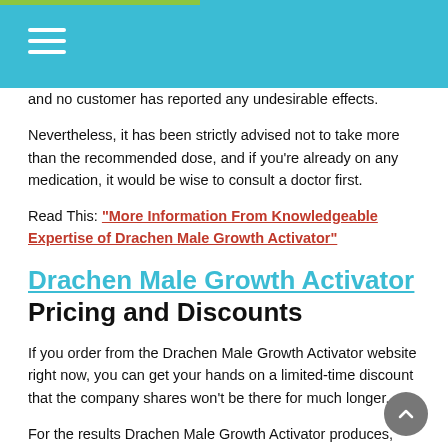and no customer has reported any undesirable effects.
Nevertheless, it has been strictly advised not to take more than the recommended dose, and if you’re already on any medication, it would be wise to consult a doctor first.
Read This: “More Information From Knowledgeable Expertise of Drachen Male Growth Activator”
Drachen Male Growth Activator Pricing and Discounts
If you order from the Drachen Male Growth Activator website right now, you can get your hands on a limited-time discount that the company shares won’t be there for much longer.
For the results Drachen Male Growth Activator produces, these discounts make Drachen Male Growth Activator a bargain. On top of all of this, the formula comes with a 60-day money-back guarantee, which means you can always ask for a refund by sending an email if you do not see the results you desire to: